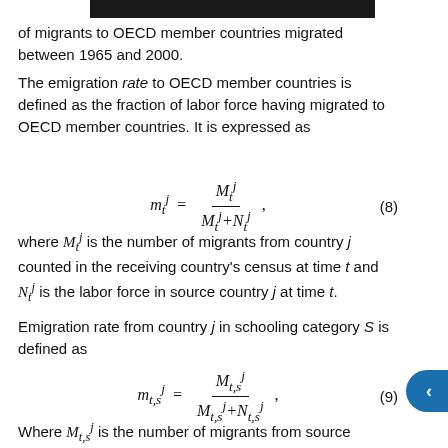Carib[...] of migrants to OECD member countries migrated between 1965 and 2000.
The emigration rate to OECD member countries is defined as the fraction of labor force having migrated to OECD member countries. It is expressed as
where M_t^j is the number of migrants from country j counted in the receiving country's census at time t and N_t^j is the labor force in source country j at time t.
Emigration rate from country j in schooling category S is defined as
Where M_{t,s}^j is the number of migrants from source country j with schooling S who are recorded in the OECD censuses at time t, and N_{t,s}^j is the labor force in